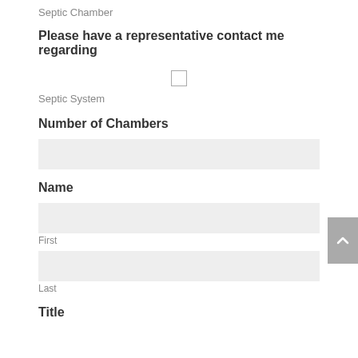Septic Chamber
Please have a representative contact me regarding
Septic System
Number of Chambers
Name
First
Last
Title